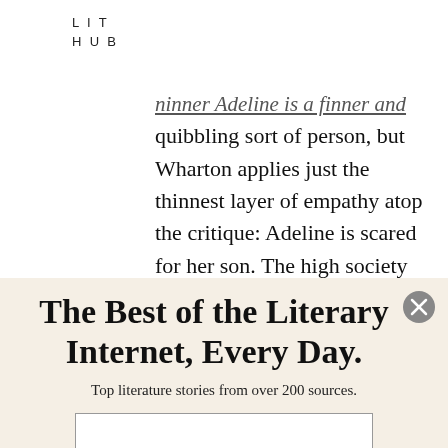LIT
HUB
nanner Adeline is a finner and quibbling sort of person, but Wharton applies just the thinnest layer of empathy atop the critique: Adeline is scared for her son. The high society men, Wharton reveals, rule through surveillance. They
The Best of the Literary Internet, Every Day.
Top literature stories from over 200 sources.
SUBSCRIBE